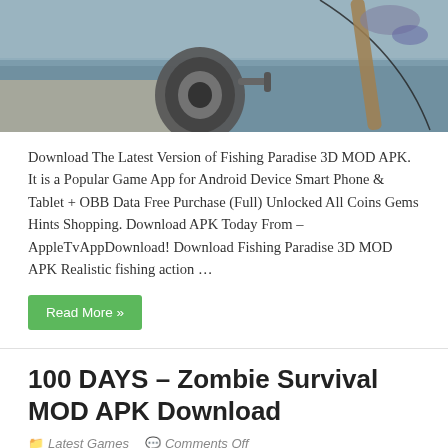[Figure (photo): Photo of a fishing reel and rod on a wooden surface near water]
Download The Latest Version of Fishing Paradise 3D MOD APK. It is a Popular Game App for Android Device Smart Phone & Tablet + OBB Data Free Purchase (Full) Unlocked All Coins Gems Hints Shopping. Download APK Today From – AppleTvAppDownload! Download Fishing Paradise 3D MOD APK Realistic fishing action …
Read More »
100 DAYS – Zombie Survival MOD APK Download
Latest Games   Comments Off
[Figure (photo): Pixel art style zombie survival game screenshot with red and orange background]